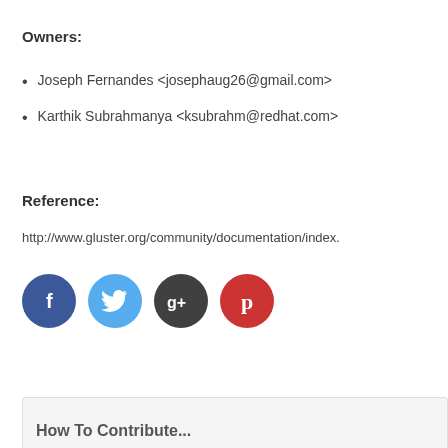Owners:
Joseph Fernandes <josephaug26@gmail.com>
Karthik Subrahmanya <ksubrahm@redhat.com>
Reference:
http://www.gluster.org/community/documentation/index.
[Figure (infographic): Four social media icons in circles: Facebook (blue), Twitter (light blue), Google+ (dark gray), Pinterest (red)]
How To Contribute...